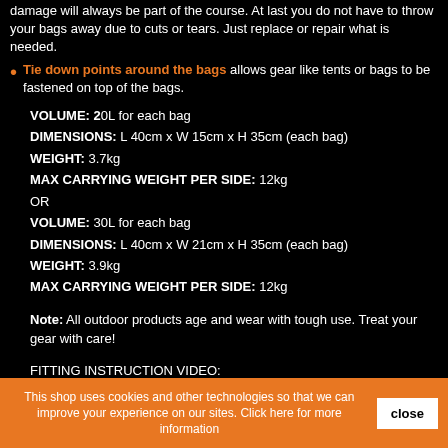damage will always be part of the course. At last you do not have to throw your bags away due to cuts or tears. Just replace or repair what is needed.
Tie down points around the bags allows gear like tents or bags to be fastened on top of the bags.
VOLUME: 20L for each bag
DIMENSIONS: L 40cm x W 15cm x H 35cm (each bag)
WEIGHT: 3.7kg
MAX CARRYING WEIGHT PER SIDE: 12kg
OR
VOLUME: 30L for each bag
DIMENSIONS: L 40cm x W 21cm x H 35cm (each bag)
WEIGHT: 3.9kg
MAX CARRYING WEIGHT PER SIDE: 12kg
Note: All outdoor products age and wear with tough use. Treat your gear with care!
FITTING INSTRUCTION VIDEO:
This shop uses cookies and other technologies so that we can improve your experience on our sites. Click here for more information